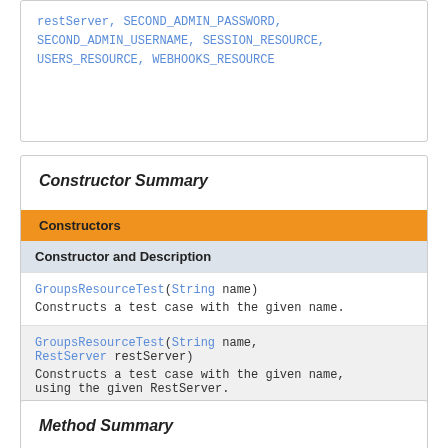restServer, SECOND_ADMIN_PASSWORD, SECOND_ADMIN_USERNAME, SESSION_RESOURCE, USERS_RESOURCE, WEBHOOKS_RESOURCE
Constructor Summary
| Constructor and Description |
| --- |
| GroupsResourceTest(String name)
Constructs a test case with the given name. |
| GroupsResourceTest(String name, RestServer restServer)
Constructs a test case with the given name, using the given RestServer. |
Method Summary